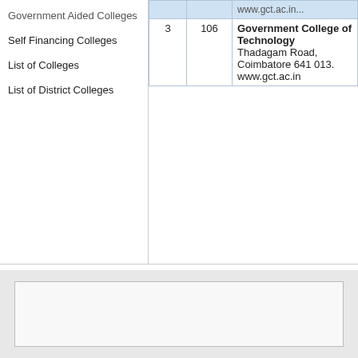Government Aided Colleges
Self Financing Colleges
List of Colleges
List of District Colleges
|  |  | www.gct.ac.in (truncated header row) |
| --- | --- | --- |
| 3 | 106 | Government College of Technology
Thadagam Road, Coimbatore 641 013.
www.gct.ac.in |